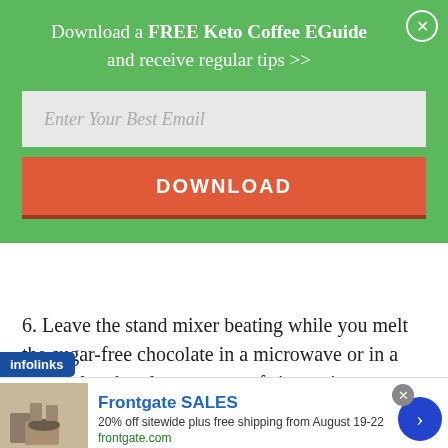Download a FREE Keto Coffee EGuide and receive regular tips >>
Enter Your Best Email
DOWNLOAD
6. Leave the stand mixer beating while you melt the sugar-free chocolate in a microwave or in a small glass bowl over a pan of simmering water. Add to
[Figure (screenshot): infolinks ad bar overlay with Frontgate SALES advertisement: 20% off sitewide plus free shipping from August 19-22, frontgate.com]